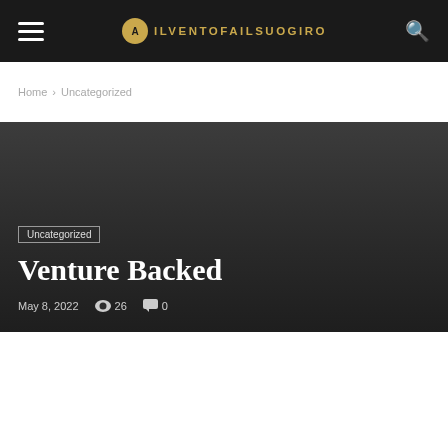ILVENTOFAILSUOGIRO
Home › Uncategorized
Uncategorized
Venture Backed
May 8, 2022   26   0